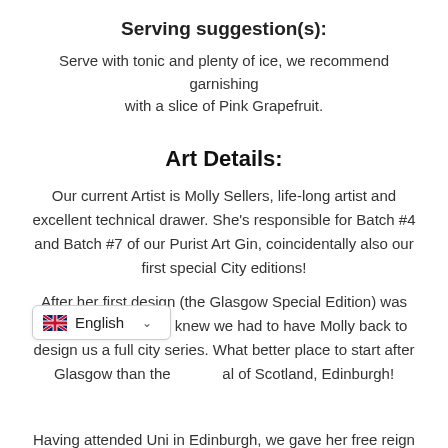Serving suggestion(s):
Serve with tonic and plenty of ice, we recommend garnishing with a slice of Pink Grapefruit.
Art Details:
Our current Artist is Molly Sellers, life-long artist and excellent technical drawer. She's responsible for Batch #4 and Batch #7 of our Purist Art Gin, coincidentally also our first special City editions!
After her first design (the Glasgow Special Edition) was such a success, we knew we had to have Molly back to design us a full city series. What better place to start after Glasgow than the capital of Scotland, Edinburgh!
Having attended Uni in Edinburgh, we gave her free reign to select some of the most iconic architecture in Edinburgh!